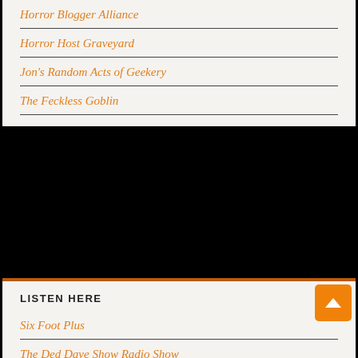Horror Blogger Alliance
Horror Host Graveyard
Jon's Random Acts of Geekery
The Feckless Goblin
LISTEN HERE
Six Foot Plus
The Ded Dave Show Radio Show
The Psychobilly Garden Party
October 2012